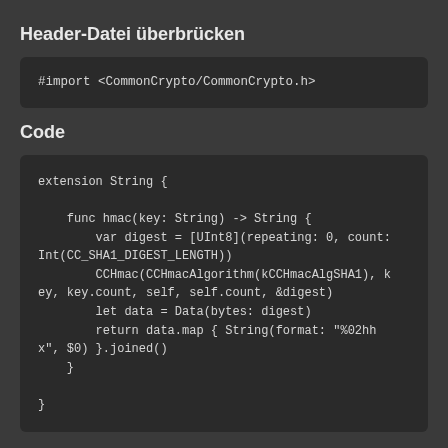Header-Datei überbrücken
#import <CommonCrypto/CommonCrypto.h>
Code
extension String {

    func hmac(key: String) -> String {
        var digest = [UInt8](repeating: 0, count: Int(CC_SHA1_DIGEST_LENGTH))
        CCHmac(CCHmacAlgorithm(kCCHmacAlgSHA1), key, key.count, self, self.count, &digest)
        let data = Data(bytes: digest)
        return data.map { String(format: "%02hhx", $0) }.joined()
    }

}